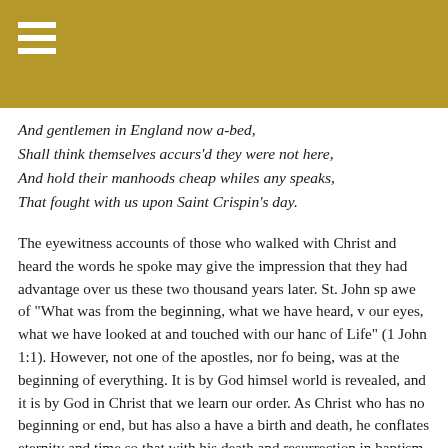And gentlemen in England now a-bed,
Shall think themselves accurs'd they were not here,
And hold their manhoods cheap whiles any speaks,
That fought with us upon Saint Crispin's day.
The eyewitness accounts of those who walked with Christ and heard the words he spoke may give the impression that they had advantage over us these two thousand years later. St. John speaks in awe of "What was from the beginning, what we have heard, what our eyes, what we have looked at and touched with our hands of Life" (1 John 1:1). However, not one of the apostles, nor fo being, was at the beginning of everything. It is by God himself world is revealed, and it is by God in Christ that we learn our order. As Christ who has no beginning or end, but has also a have a birth and death, he conflates eternity and time so that with his death and resurrection in baptism, we mystically are beginning of the world and at its end. "He is before all things, hold together" (1 Colossians 1:17).